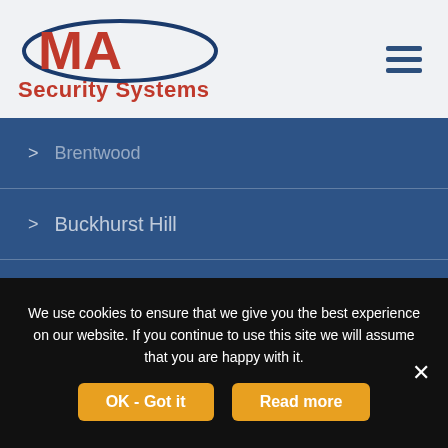[Figure (logo): MA Security Systems logo with red MA letters inside a dark blue oval ellipse, and 'Security Systems' in red text below]
> Brentwood
> Buckhurst Hill
> Chelmsford
> Chigwell
> Great Dunmow
We use cookies to ensure that we give you the best experience on our website. If you continue to use this site we will assume that you are happy with it.
OK - Got it
Read more